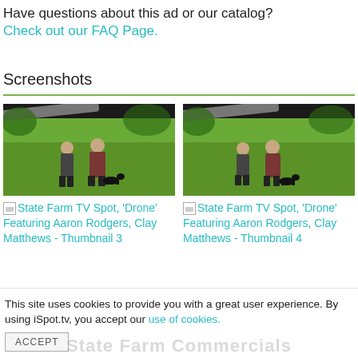Have questions about this ad or our catalog? Check out our FAQ Page.
Screenshots
[Figure (screenshot): Screenshot of State Farm TV Spot 'Drone' Featuring Aaron Rodgers and Clay Matthews - Thumbnail 3. Outdoor scene with two men standing on grass, a drone arm visible at the top.]
State Farm TV Spot, 'Drone' Featuring Aaron Rodgers, Clay Matthews - Thumbnail 3
[Figure (screenshot): Screenshot of State Farm TV Spot 'Drone' Featuring Aaron Rodgers and Clay Matthews - Thumbnail 4. Outdoor scene with two men standing on grass, a drone arm visible at the top.]
State Farm TV Spot, 'Drone' Featuring Aaron Rodgers, Clay Matthews - Thumbnail 4
This site uses cookies to provide you with a great user experience. By using iSpot.tv, you accept our use of cookies.